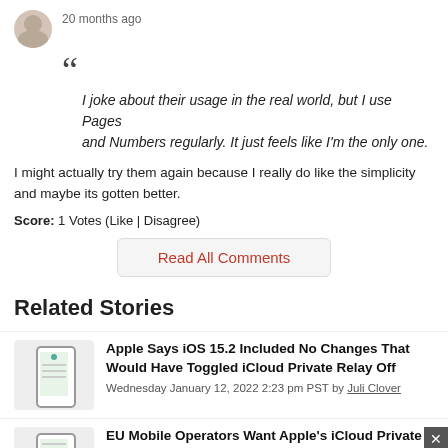20 months ago
“I joke about their usage in the real world, but I use Pages and Numbers regularly. It just feels like I'm the only one.
I might actually try them again because I really do like the simplicity and maybe its gotten better.
Score: 1 Votes (Like | Disagree)
Read All Comments
Related Stories
Apple Says iOS 15.2 Included No Changes That Would Have Toggled iCloud Private Relay Off
Wednesday January 12, 2022 2:23 pm PST by Juli Clover
EU Mobile Operators Want Apple's iCloud Private Relay Service to Be Outlawed Over Concerns of 'Digital Sovereignty'
Monday January 10, 2022 4:40 am PST by Samuel Edelen